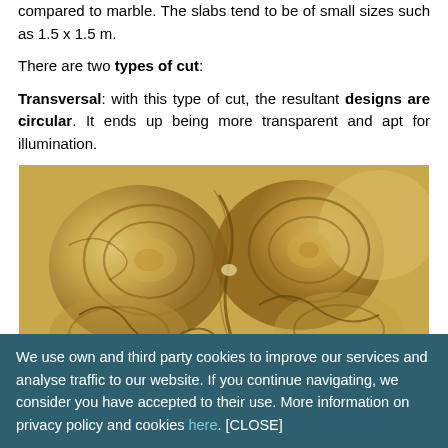compared to marble. The slabs tend to be of small sizes such as 1.5 x 1.5 m.
There are two types of cut:
Transversal: with this type of cut, the resultant designs are circular. It ends up being more transparent and apt for illumination.
[Figure (photo): Close-up photograph of a transversal cut of onyx stone showing circular and swirling patterns in golden/amber tones with brown veining.]
Perpendicular: with this type of cut, the resultant designs are
We use own and third party cookies to improve our services and analyse traffic to our website. If you continue navigating, we consider you have accepted to their use. More information on privacy policy and cookies here. [CLOSE]